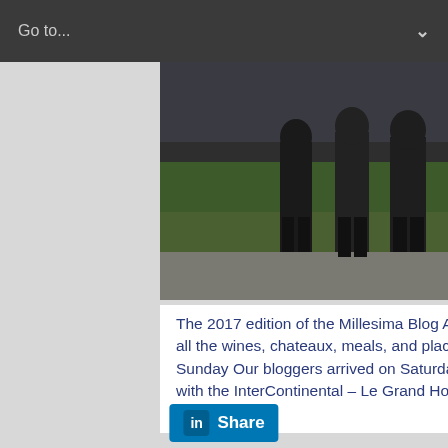Go to...
[Figure (photo): Group of people standing outdoors on gravel/lawn area, photographed from torso down showing legs and feet]
The 2017 edition of the Millesima Blog Awards has concluded. Here is a quick summary of all the wines, chateaux, meals, and places that our winners were able to visit and taste. Sunday Our bloggers arrived on Saturday afternoon and enjoyed a drink at the Victor Bar with the InterContinental – Le Grand Hotel's Head Sommelier. Shortly after, they had … Read More »
[Figure (logo): LinkedIn Share button - blue rounded rectangle with LinkedIn 'in' icon and 'Share' text in white]